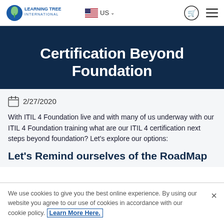Learning Tree International — US — cart icon — menu icon
Certification Beyond Foundation
2/27/2020
With ITIL 4 Foundation live and with many of us underway with our ITIL 4 Foundation training what are our ITIL 4 certification next steps beyond foundation? Let's explore our options:
Let's Remind ourselves of the RoadMap
We use cookies to give you the best online experience. By using our website you agree to our use of cookies in accordance with our cookie policy. Learn More Here.